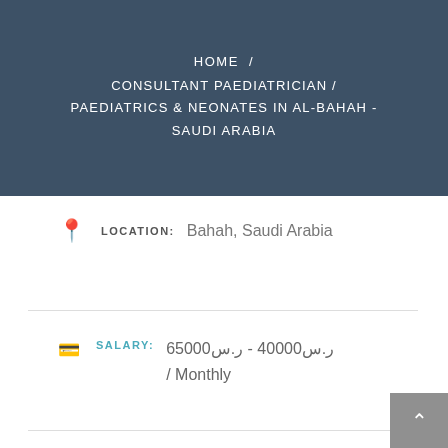HOME / CONSULTANT PAEDIATRICIAN / PAEDIATRICS & NEONATES IN AL-BAHAH - SAUDI ARABIA
LOCATION: Bahah, Saudi Arabia
SALARY: ر.س40000 - ر.س65000 / Monthly